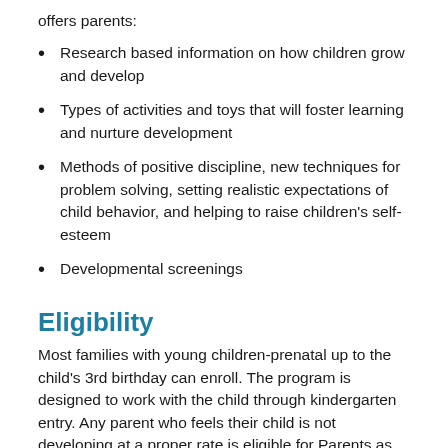offers parents:
Research based information on how children grow and develop
Types of activities and toys that will foster learning and nurture development
Methods of positive discipline, new techniques for problem solving, setting realistic expectations of child behavior, and helping to raise children's self-esteem
Developmental screenings
Eligibility
Most families with young children-prenatal up to the child's 3rd birthday can enroll. The program is designed to work with the child through kindergarten entry. Any parent who feels their child is not developing at a proper rate is eligible for Parents as Teachers, no matter their income